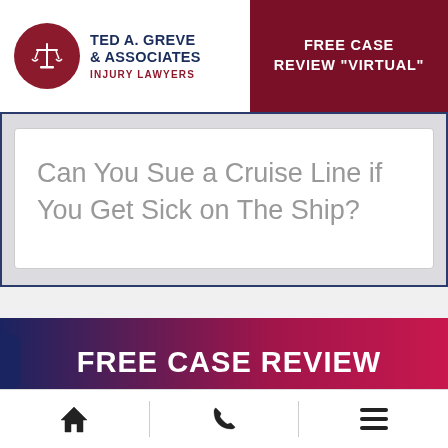[Figure (logo): Ted A. Greve & Associates Injury Lawyers logo with scales of justice icon in red circle]
FREE CASE REVIEW "VIRTUAL"
Can You Sue a Cruise Line if You Get Sick on The Ship?
FREE CASE REVIEW
Text us!
[Figure (other): Bottom navigation bar with home, phone, and hamburger menu icons]